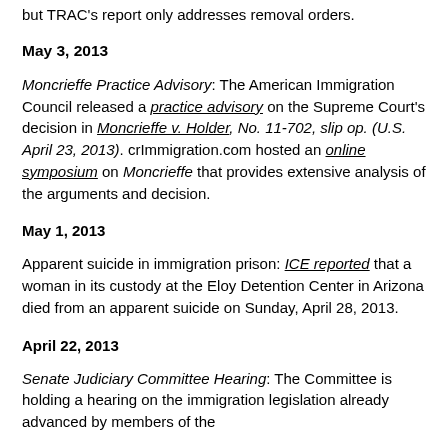but TRAC's report only addresses removal orders.
May 3, 2013
Moncrieffe Practice Advisory: The American Immigration Council released a practice advisory on the Supreme Court's decision in Moncrieffe v. Holder, No. 11-702, slip op. (U.S. April 23, 2013). crImmigration.com hosted an online symposium on Moncrieffe that provides extensive analysis of the arguments and decision.
May 1, 2013
Apparent suicide in immigration prison: ICE reported that a woman in its custody at the Eloy Detention Center in Arizona died from an apparent suicide on Sunday, April 28, 2013.
April 22, 2013
Senate Judiciary Committee Hearing: The Committee is holding a hearing on the immigration legislation already advanced by members of the Gang of Eight.